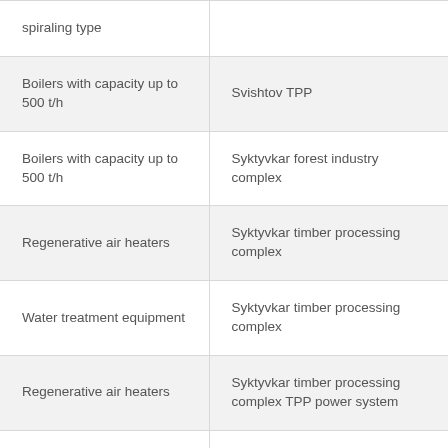| spiraling type |  |
| Boilers with capacity up to 500 t/h | Svishtov TPP |
| Boilers with capacity up to 500 t/h | Syktyvkar forest industry complex |
| Regenerative air heaters | Syktyvkar timber processing complex |
| Water treatment equipment | Syktyvkar timber processing complex |
| Regenerative air heaters | Syktyvkar timber processing complex TPP power system |
| Scp boilers for 300 Mw units | Syrdarya TPP |